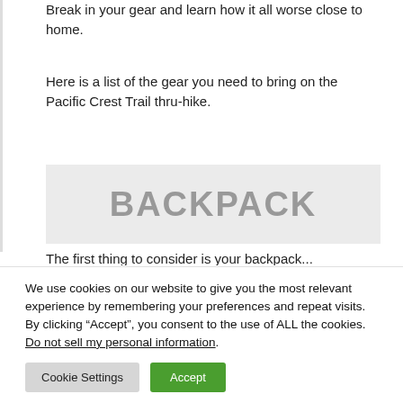Break in your gear and learn how it all worse close to home.
Here is a list of the gear you need to bring on the Pacific Crest Trail thru-hike.
[Figure (other): Gray placeholder box with the word BACKPACK in large bold gray uppercase letters]
The first thing to consider is your backpack...
We use cookies on our website to give you the most relevant experience by remembering your preferences and repeat visits. By clicking “Accept”, you consent to the use of ALL the cookies. Do not sell my personal information.